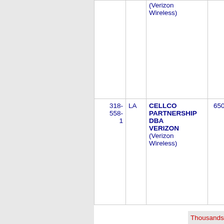| Number | State | Company | Code | Name |
| --- | --- | --- | --- | --- |
|  |  | (Verizon Wireless) |  |  |
| 318-558-1 | LA | CELLCO PARTNERSHIP DBA VERIZON (Verizon Wireless) | 6505 | MARIO... |
Thousands block for 318-562